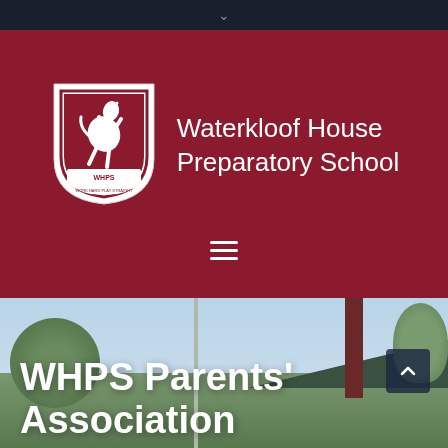navigation bar with chevron
[Figure (logo): Waterkloof House Preparatory School shield logo with rearing horse and WHPS text, white on dark red background]
Waterkloof House Preparatory School
[Figure (photo): School grounds photo showing flagpole, green roof building, trees, and blue sky]
WHPS Parents' Association